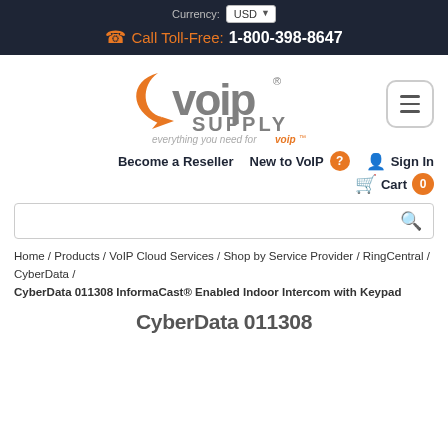Currency: USD | Call Toll-Free: 1-800-398-8647
[Figure (logo): VoIP Supply logo with tagline 'everything you need for voip']
Become a Reseller   New to VoIP   Sign In   Cart 0
Search bar
Home / Products / VoIP Cloud Services / Shop by Service Provider / RingCentral / CyberData / CyberData 011308 InformaCast® Enabled Indoor Intercom with Keypad
CyberData 011308